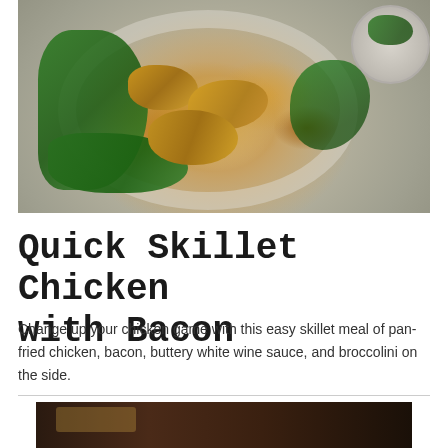[Figure (photo): Overhead photo of a white bowl containing pan-fried chicken pieces with bacon, served on a bed of green broccolini, with a smaller white bowl partially visible in the upper right corner, on a dark wooden surface.]
Quick Skillet Chicken with Bacon
Change up your chicken game with this easy skillet meal of pan-fried chicken, bacon, buttery white wine sauce, and broccolini on the side.
[Figure (photo): Bottom strip showing partial view of another food photo with dark tones.]